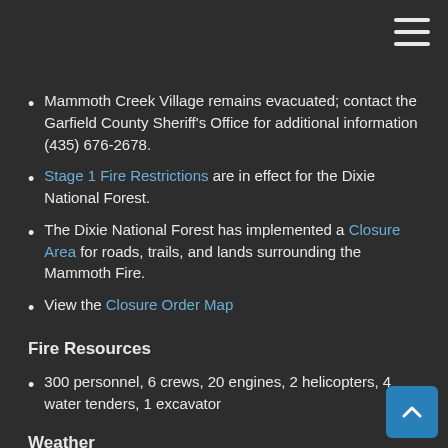Mammoth Creek Village remains evacuated; contact the Garfield County Sheriff's Office for additional information (435) 676-2678.
Stage 1 Fire Restrictions are in effect for the Dixie National Forest.
The Dixie National Forest has implemented a Closure Area for roads, trails, and lands surrounding the Mammoth Fire.
View the Closure Order Map
Fire Resources
300 personnel, 6 crews, 20 engines, 2 helicopters, 4 water tenders, 1 excavator
Weather
The coming days will see significant warming, with the area expected to reach record-breaking temperatures by the middle of next week and very low relative humidity. More than 90% of Utah, the Arizona Strip, and the lower third of Nevada are experiencing extreme drought, with parts of